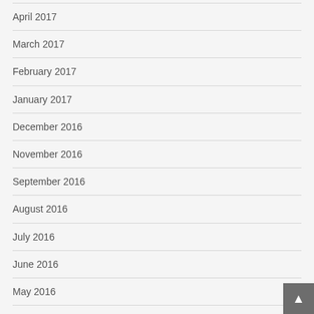April 2017
March 2017
February 2017
January 2017
December 2016
November 2016
September 2016
August 2016
July 2016
June 2016
May 2016
April 2016
March 2016